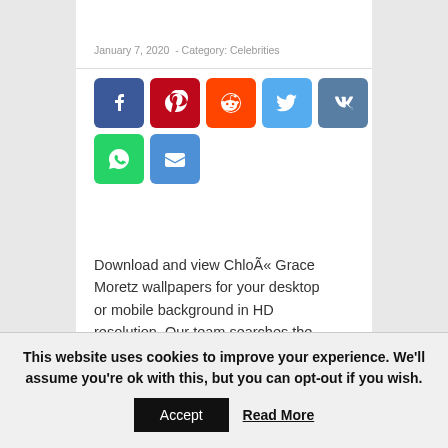January 7, 2020  -  Category: Celebrities
[Figure (infographic): Social media sharing icons: Facebook, Pinterest, Reddit, Twitter, VK, WhatsApp, Email]
Download and view ChloÃ« Grace Moretz wallpapers for your desktop or mobile background in HD resolution. Our team searches the internet for the best and latest background wallpapers in HD quality. We try to bring you new posts about interesting or popular subjects containing new quality
This website uses cookies to improve your experience. We'll assume you're ok with this, but you can opt-out if you wish.